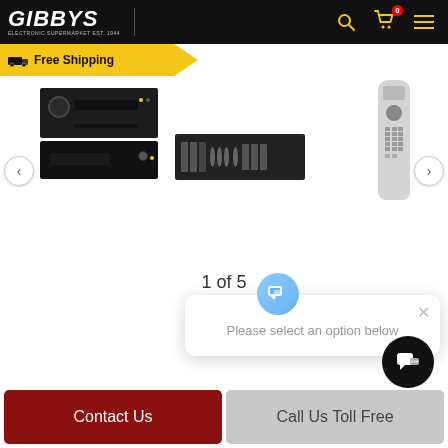[Figure (screenshot): Gibby's Electronics Supermarket website header with logo, search icon, cart icon with badge '0', and menu icon on black background]
[Figure (illustration): Yellow arrow-shaped Free Shipping banner with truck icon]
[Figure (photo): Product image carousel showing AV receiver stack, back panel of device, and a remote control, with left and right navigation arrows]
1 of 5
[Figure (screenshot): Popup dialog with chat icon showing 'Please select an option below' with a close X button]
[Figure (illustration): Dark circular chat/support button in lower right]
Contact Us
Call Us Toll Free